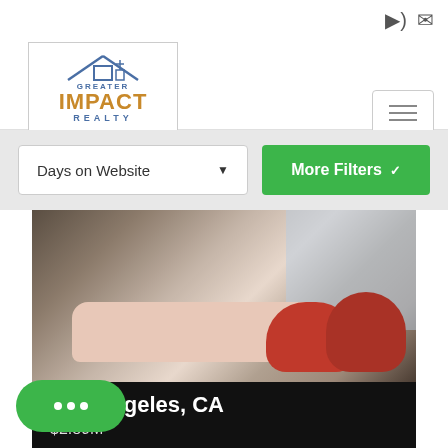[Figure (logo): Greater Impact Realty logo with house outline]
Days on Website
More Filters
[Figure (photo): Interior living room with beige sofa and red chairs near windows]
Los Angeles, CA
$2.89M
10776 Wilshire Boulevard # 4…
Size
2,735 SqFt